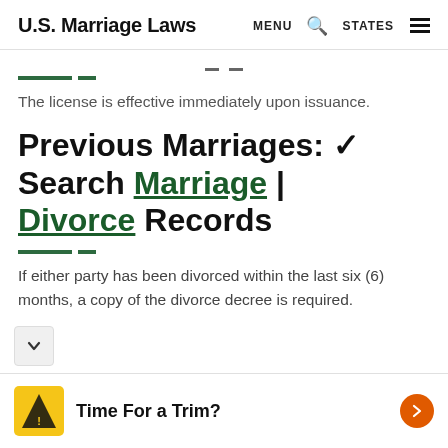U.S. Marriage Laws  MENU  STATES
The license is effective immediately upon issuance.
Previous Marriages: ✓ Search Marriage | Divorce Records
If either party has been divorced within the last six (6) months, a copy of the divorce decree is required.
Time For a Trim?